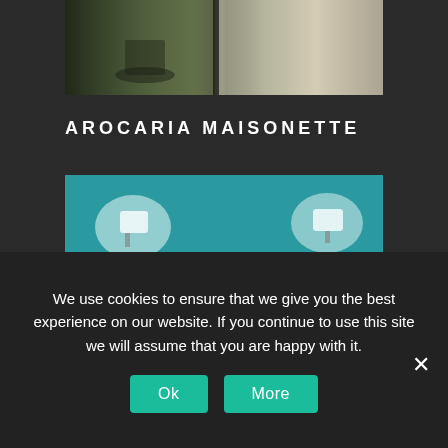[Figure (photo): Partial view of a balcony or terrace with outdoor furniture and greenery, cut off at the top of the page]
AROCARIA MAISONETTE
[Figure (photo): Hotel bedroom with teal/turquoise wall, double bed with white pillows, gray headboard, and wall-mounted lights]
We use cookies to ensure that we give you the best experience on our website. If you continue to use this site we will assume that you are happy with it.